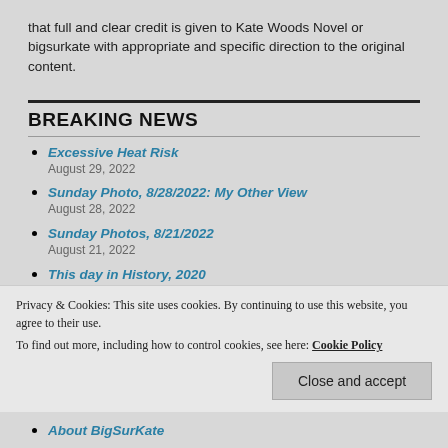that full and clear credit is given to Kate Woods Novel or bigsurkate with appropriate and specific direction to the original content.
BREAKING NEWS
Excessive Heat Risk
August 29, 2022
Sunday Photo, 8/28/2022: My Other View
August 28, 2022
Sunday Photos, 8/21/2022
August 21, 2022
This day in History, 2020
August 18, 2022
Los Bueyes Fire
August 18, 2022
Privacy & Cookies: This site uses cookies. By continuing to use this website, you agree to their use.
To find out more, including how to control cookies, see here: Cookie Policy
About BigSurKate